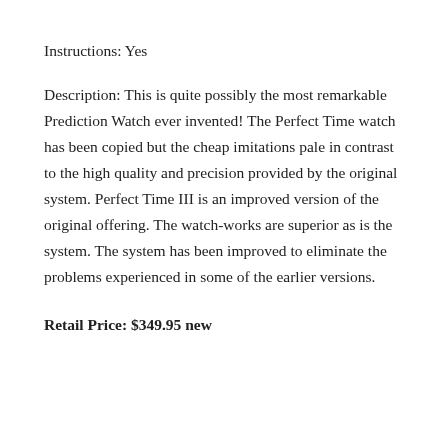Instructions: Yes
Description: This is quite possibly the most remarkable Prediction Watch ever invented! The Perfect Time watch has been copied but the cheap imitations pale in contrast to the high quality and precision provided by the original system. Perfect Time III is an improved version of the original offering. The watch-works are superior as is the system. The system has been improved to eliminate the problems experienced in some of the earlier versions.
Retail Price: $349.95 new